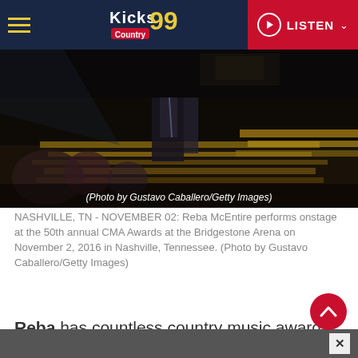Kicks 99 Country - LISTEN
[Figure (photo): Concert stage photo, dark scene with instruments and lighting, caption: (Photo by Gustavo Caballero/Getty Images)]
NASHVILLE, TN - NOVEMBER 02: Reba McEntire performs onstage at the 50th annual CMA Awards at the Bridgestone Arena on November 2, 2016 in Nashville, Tennessee. (Photo by Gustavo Caballero/Getty Images)
Reba has countless country music awards and a couple of Grammys on her trophy shelves, but she might soon add music awards of